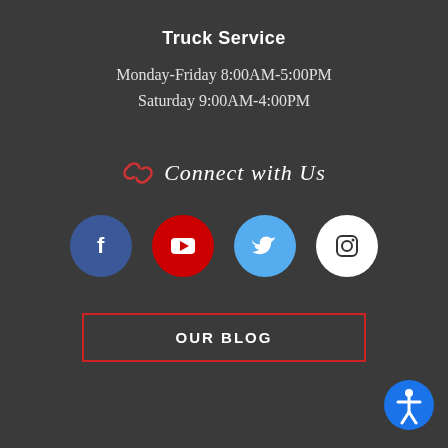Truck Service
Monday-Friday 8:00AM-5:00PM
Saturday 9:00AM-4:00PM
Connect with Us
[Figure (infographic): Social media icons: Facebook (blue circle with f), YouTube (red circle with play button), Twitter (light blue circle with bird), Instagram (white circle with camera icon)]
OUR BLOG
[Figure (illustration): Accessibility icon: blue circle with white human figure with arms outstretched]